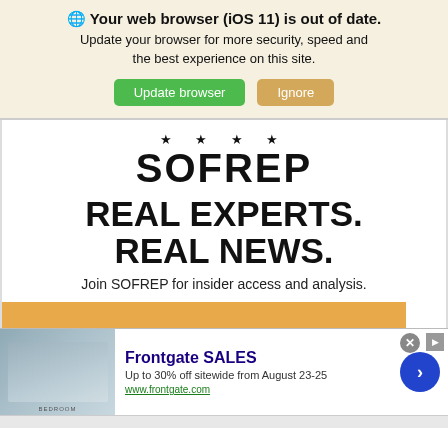🌐 Your web browser (iOS 11) is out of date. Update your browser for more security, speed and the best experience on this site.
Update browser   Ignore
[Figure (screenshot): SOFREP website screenshot showing logo with four stars, headline 'REAL EXPERTS. REAL NEWS.' and tagline 'Join SOFREP for insider access and analysis.' with an orange CTA bar at the bottom]
[Figure (screenshot): Frontgate SALES advertisement banner showing bedroom image, text 'Up to 30% off sitewide from August 23-25', URL www.frontgate.com, blue circular arrow CTA button, and a close X button]